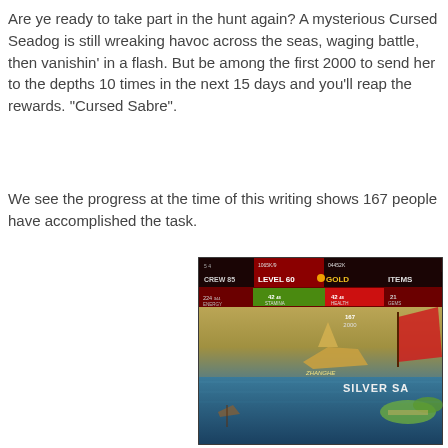Are ye ready to take part in the hunt again? A mysterious Cursed Seadog is still wreaking havoc across the seas, waging battle, then vanishin' in a flash. But be among the first 2000 to send her to the depths 10 times in the next 15 days and you'll reap the rewards. “Cursed Sabre”.
We see the progress at the time of this writing shows 167 people have accomplished the task.
[Figure (screenshot): Mobile game screenshot showing a pirate ship battle scene with a dark red HUD bar at top displaying CREW 85, LEVEL 60, GOLD, ITEMS stats, and showing 167/2000 progress. The background shows a nautical scene with a golden ship labeled ZHANGHE and text SILVER SA visible. Blue ocean and tropical islands in the background.]